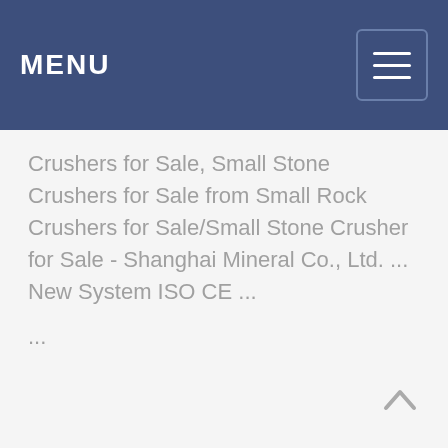MENU
Crushers for Sale, Small Stone Crushers for Sale from Small Rock Crushers for Sale/Small Stone Crusher for Sale - Shanghai Mineral Co., Ltd. ... New System ISO CE ...